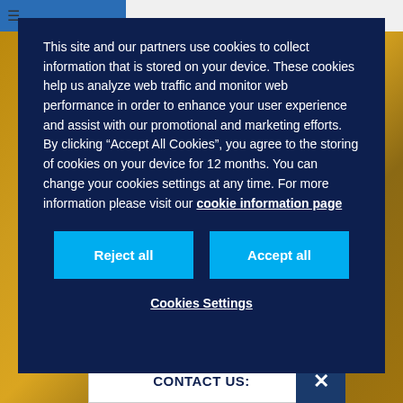This site and our partners use cookies to collect information that is stored on your device. These cookies help us analyze web traffic and monitor web performance in order to enhance your user experience and assist with our promotional and marketing efforts. By clicking “Accept All Cookies”, you agree to the storing of cookies on your device for 12 months. You can change your cookies settings at any time. For more information please visit our cookie information page
Reject all
Accept all
Cookies Settings
CONTACT US: